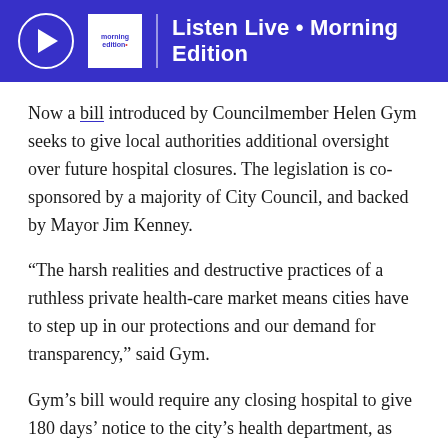Listen Live • Morning Edition
Now a bill introduced by Councilmember Helen Gym seeks to give local authorities additional oversight over future hospital closures. The legislation is co-sponsored by a majority of City Council, and backed by Mayor Jim Kenney.
“The harsh realities and destructive practices of a ruthless private health-care market means cities have to step up in our protections and our demand for transparency,” said Gym.
Gym’s bill would require any closing hospital to give 180 days’ notice to the city’s health department, as opposed to the 90 days currently required under state law.